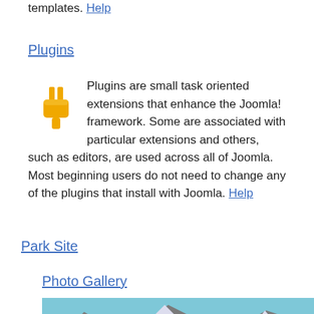templates. Help
Plugins
Plugins are small task oriented extensions that enhance the Joomla! framework. Some are associated with particular extensions and others, such as editors, are used across all of Joomla. Most beginning users do not need to change any of the plugins that install with Joomla. Help
Park Site
Photo Gallery
[Figure (photo): Mountain landscape photo with rocky peaks and blue sky]